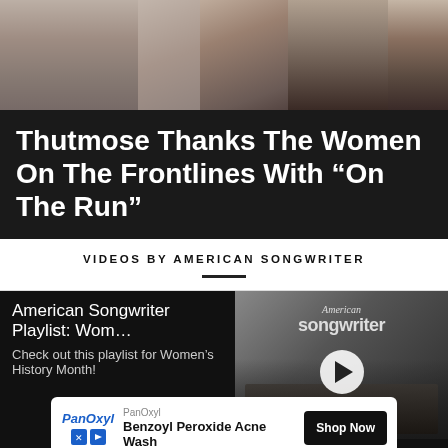[Figure (photo): Partial photo of a person, cropped at top, dark clothing visible against a light background]
Thutmose Thanks The Women On The Frontlines With “On The Run”
VIDEOS BY AMERICAN SONGWRITER
[Figure (screenshot): Video player showing American Songwriter playlist thumbnail with play button. Title: American Songwriter Playlist: Wom… Description: Check out this playlist for Women's History Month!]
American Songwriter Playlist: Wom…
Check out this playlist for Women’s History Month!
PanOxyl
Benzoyl Peroxide Acne Wash
Shop Now